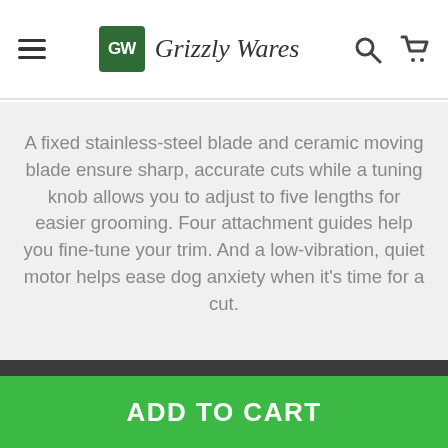Grizzly Wares
A fixed stainless-steel blade and ceramic moving blade ensure sharp, accurate cuts while a tuning knob allows you to adjust to five lengths for easier grooming. Four attachment guides help you fine-tune your trim. And a low-vibration, quiet motor helps ease dog anxiety when it’s time for a cut.
Powered for two hours of
ADD TO CART